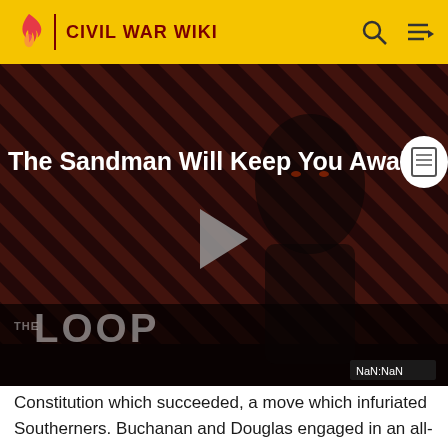CIVIL WAR WIKI
[Figure (screenshot): Video player showing 'The Sandman Will Keep You Awake' with a dark figure and diagonal stripe background, THE LOOP logo, play button, and NaN:NaN timestamp label]
Constitution which succeeded, a move which infuriated Southerners. Buchanan and Douglas engaged in an all-out struggle for control of the party in 1859–60, with Buchanan using his patronage powers and Douglas rallying the grass roots. The result was a further weakened party and government.[19]